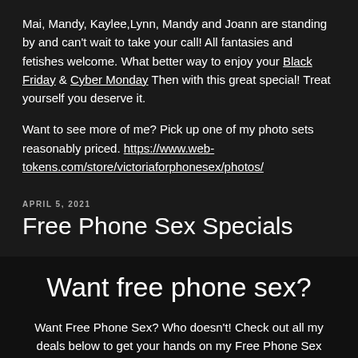Mai, Mandy, Kaylee,Lynn, Mandy and Joann are standing by and can't wait to take your call! All fantasies and fetishes welcome. What better way to enjoy your Black Friday & Cyber Monday Then with this great special! Treat yourself you deserve it.
Want to see more of me? Pick up one of my photo sets reasonably priced. https://www.web-tokens.com/store/victoriaforphonesex/photos/
APRIL 5, 2021
Free Phone Sex Specials
Want free phone sex?
Want Free Phone Sex? Who doesn't! Check out all my deals below to get your hands on my Free Phone Sex